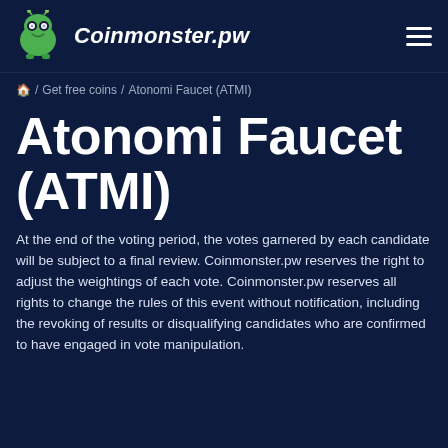Coinmonster.pw
/ Get free coins / Atonomi Faucet (ATMI)
Atonomi Faucet (ATMI)
At the end of the voting period, the votes garnered by each candidate will be subject to a final review. Coinmonster.pw reserves the right to adjust the weightings of each vote. Coinmonster.pw reserves all rights to change the rules of this event without notification, including the revoking of results or disqualifying candidates who are confirmed to have engaged in vote manipulation.